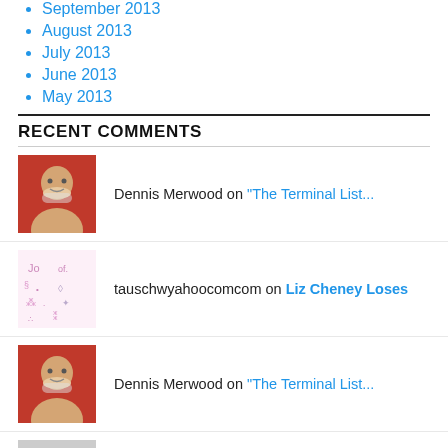September 2013
August 2013
July 2013
June 2013
May 2013
RECENT COMMENTS
Dennis Merwood on "The Terminal List..."
tauschwyahoocomcom on Liz Cheney Loses
Dennis Merwood on "The Terminal List..."
Ray Joseph Cormier on "The Terminal List..."
wjastore on "The Terminal List..."